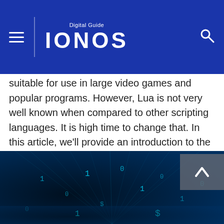Digital Guide IONOS
suitable for use in large video games and popular programs. However, Lua is not very well known when compared to other scripting languages. It is high time to change that. In this article, we'll provide an introduction to the programming language Lua.
[Figure (infographic): Social share icons row: Facebook (dark blue circle with f), Twitter (light blue circle with bird), Xing (dark teal circle with X), LinkedIn (teal circle with in)]
[Figure (photo): Dark digital data stream background with glowing blue binary numbers and code particles converging in perspective]